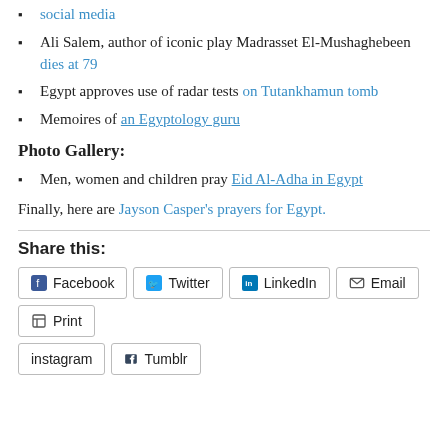social media
Ali Salem, author of iconic play Madrasset El-Mushaghebeen dies at 79
Egypt approves use of radar tests on Tutankhamun tomb
Memoires of an Egyptology guru
Photo Gallery:
Men, women and children pray Eid Al-Adha in Egypt
Finally, here are Jayson Casper's prayers for Egypt.
Share this:
Facebook  Twitter  LinkedIn  Email  Print  instagram  Tumblr